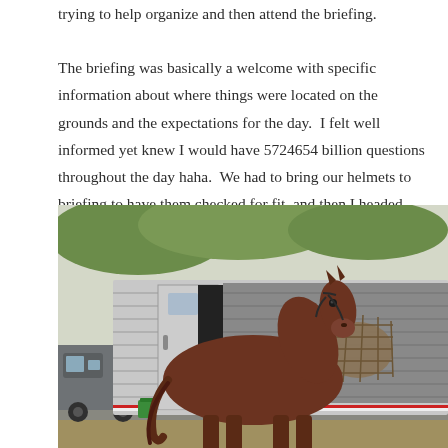trying to help organize and then attend the briefing.

The briefing was basically a welcome with specific information about where things were located on the grounds and the expectations for the day.  I felt well informed yet knew I would have 5724654 billion questions throughout the day haha.  We had to bring our helmets to briefing to have them checked for fit, and then I headed straight over to unload Ellie.
[Figure (photo): A chestnut horse standing beside a large silver horse trailer. The horse is eating hay from a hay net attached to the trailer. A grey pickup truck is visible on the left side. Green grass on the ground.]